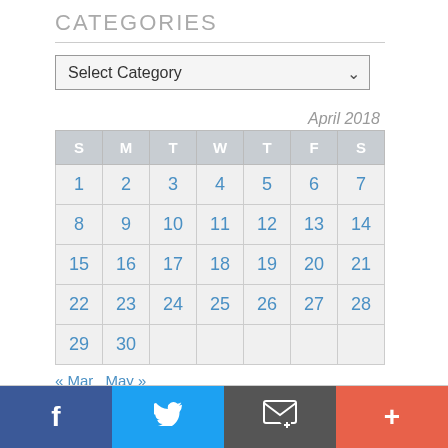CATEGORIES
[Figure (screenshot): Select Category dropdown widget]
| S | M | T | W | T | F | S |
| --- | --- | --- | --- | --- | --- | --- |
| 1 | 2 | 3 | 4 | 5 | 6 | 7 |
| 8 | 9 | 10 | 11 | 12 | 13 | 14 |
| 15 | 16 | 17 | 18 | 19 | 20 | 21 |
| 22 | 23 | 24 | 25 | 26 | 27 | 28 |
| 29 | 30 |  |  |  |  |  |
« Mar   May »
Facebook Twitter Email +